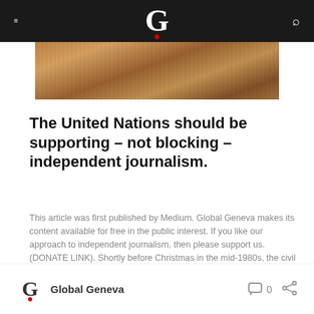G — Global Geneva (navigation header)
[Figure (photo): Partial photo of people in an outdoor scene, appears to be in Africa, used as hero image for article]
The United Nations should be supporting – not blocking – independent journalism.
This article was first published by Medium. Global Geneva makes its content available for free in the public interest. If you like our approach to independent journalism, then please support us. (DONATE LINK). Shortly before Christmas in the mid-1980s, the civil war in Ethiopia produced a renewed surge of refugees into neighbouring Sudan. Bombed and strafed by … Continue reading
Global Geneva   0